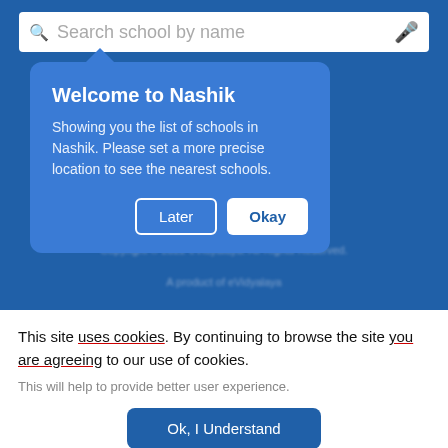[Figure (screenshot): Mobile app screenshot showing a search bar with placeholder 'Search school by name' and a microphone icon, on a blue background. A popup dialog is overlaid showing 'Welcome to Nashik' message with 'Later' and 'Okay' buttons.]
This site uses cookies. By continuing to browse the site you are agreeing to our use of cookies.
This will help to provide better user experience.
Ok, I Understand